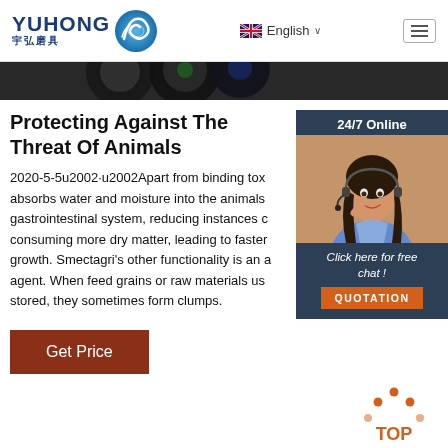YUHONG 宇弘磨具 | English
[Figure (photo): Dark circular grinding wheels/discs banner strip]
Protecting Against The Threat Of Animals
[Figure (photo): 24/7 Online chat widget with woman wearing headset, 'Click here for free chat!' and QUOTATION button]
2020-5-5u2002·u2002Apart from binding tox absorbs water and moisture into the animals gastrointestinal system, reducing instances c consuming more dry matter, leading to faster growth. Smectagri's other functionality is an a agent. When feed grains or raw materials us stored, they sometimes form clumps.
Get Price
[Figure (logo): TOP navigation button with orange dots forming an arrow pointing up]